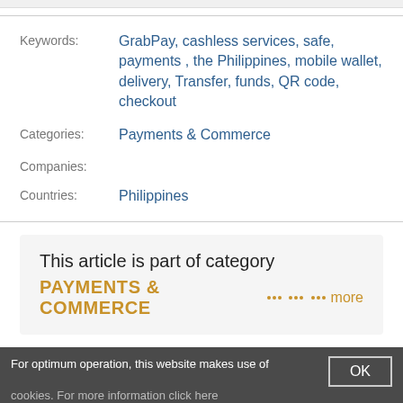Keywords: GrabPay, cashless services, safe, payments , the Philippines, mobile wallet, delivery, Transfer, funds, QR code, checkout
Categories: Payments & Commerce
Companies:
Countries: Philippines
This article is part of category PAYMENTS & COMMERCE ::: more
For optimum operation, this website makes use of cookies. For more information click here